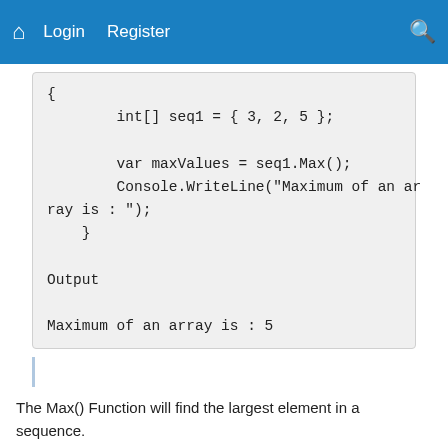Home  Login  Register  [search]
{
        int[] seq1 = { 3, 2, 5 };

        var maxValues = seq1.Max();
        Console.WriteLine("Maximum of an array is : ");
    }
Output

Maximum of an array is : 5
The Max() Function will find the largest element in a sequence.
6. Average